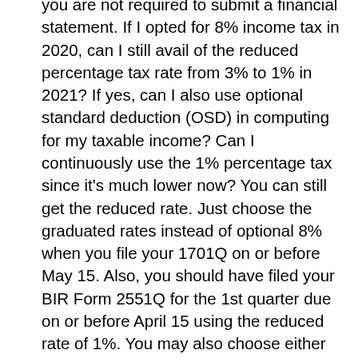you are not required to submit a financial statement. If I opted for 8% income tax in 2020, can I still avail of the reduced percentage tax rate from 3% to 1% in 2021? If yes, can I also use optional standard deduction (OSD) in computing for my taxable income? Can I continuously use the 1% percentage tax since it's much lower now? You can still get the reduced rate. Just choose the graduated rates instead of optional 8% when you file your 1701Q on or before May 15. Also, you should have filed your BIR Form 2551Q for the 1st quarter due on or before April 15 using the reduced rate of 1%. You may also choose either OSD or itemized deduction when filing your 1701Q for the 1st quarter. Unfortunately, however, the reduction of percentage tax from 3% to 1% from July 1, 2020 is only until June 30, 2023, as it is one of the tax relief measures provided in the Corporate Recovery and Tax Incentives for Enterprises or CREATE law. Who are